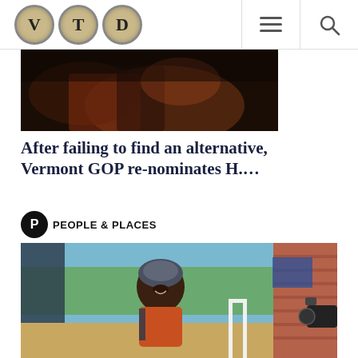VTD
[Figure (photo): Dark photo of people at an event, partial view of hands and clothing]
After failing to find an alternative, Vermont GOP re-nominates H….
PEOPLE & PLACES
[Figure (photo): Man wearing cycling helmet and orange jersey vest smiling, with brick wall and camera crew visible in background]